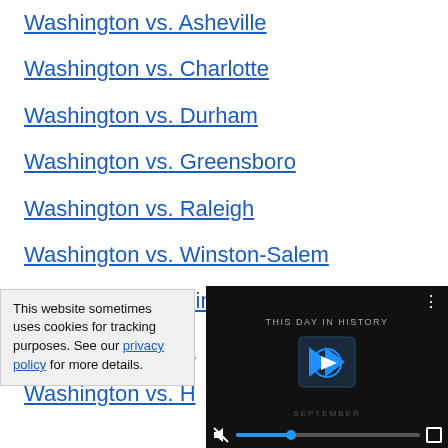Washington vs. Asheville
Washington vs. Charlotte
Washington vs. Durham
Washington vs. Greensboro
Washington vs. Raleigh
Washington vs. Winston-Salem
Washington vs. Cincinnati
Washington vs. C…
Washington vs. H…
This website sometimes uses cookies for tracking purposes. See our privacy policy for more details.
[Figure (screenshot): Video player overlay showing 'THIS DAY IN HISTORY' with blue play button icon, mute button, progress bar, and fullscreen button on dark background.]